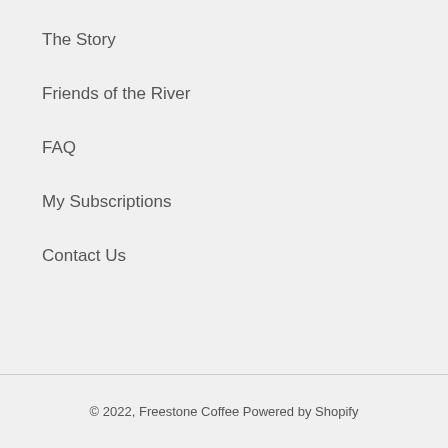The Story
Friends of the River
FAQ
My Subscriptions
Contact Us
© 2022, Freestone Coffee Powered by Shopify